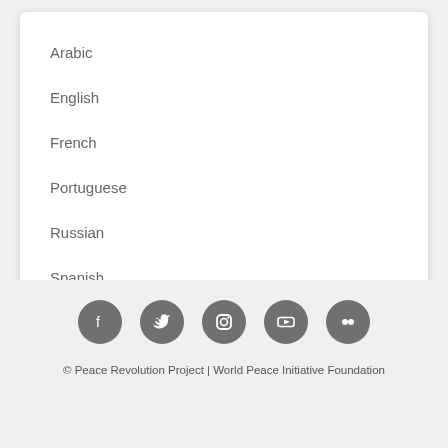Arabic
English
French
Portuguese
Russian
Spanish
[Figure (infographic): Social media icons: Facebook, Twitter, Instagram, YouTube, Flickr — circular gray buttons]
© Peace Revolution Project | World Peace Initiative Foundation